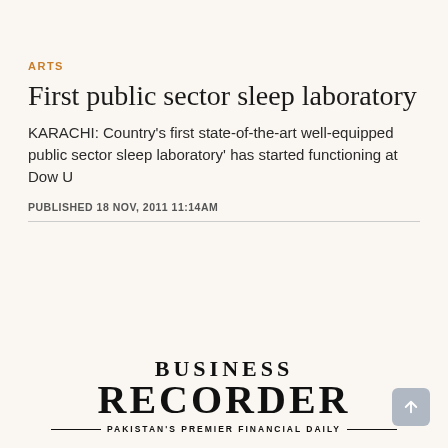ARTS
First public sector sleep laboratory
KARACHI: Country's first state-of-the-art well-equipped public sector sleep laboratory' has started functioning at Dow U
PUBLISHED 18 NOV, 2011 11:14AM
[Figure (logo): Business Recorder newspaper logo with tagline: PAKISTAN'S PREMIER FINANCIAL DAILY]